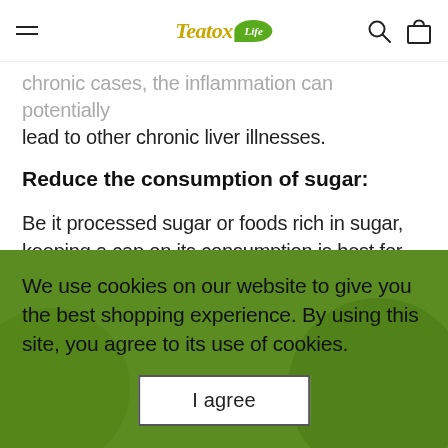Teatox Life — navigation bar with hamburger menu, logo, search and cart icons
chronic cases, the inflammation can potentially lead to other chronic liver illnesses.
Reduce the consumption of sugar:
Be it processed sugar or foods rich in sugar, keeping a cap on its consumption is best for your liver's health. Too much sugar can form fats and fats can weaken the liver in the long run, disabling the ability to break them down. Therefore, risking the liver from developing a fatty liver.
We use cookies on our website to give you the best shopping experience. By using this site, you agree to its use of cookies.
I agree